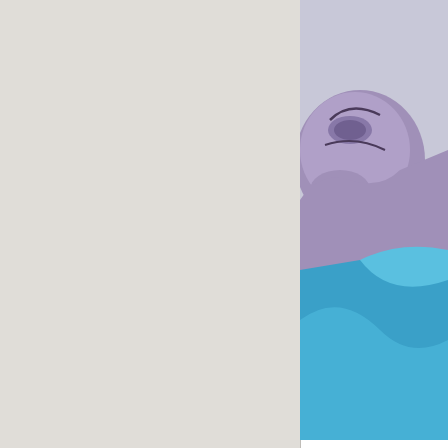[Figure (illustration): Partial view of a cartoon dragon character named Hex, showing the upper body with purple/lavender scales and a blue cape/robe, with yellow tusks. Cropped at the right side of the page.]
Dang, Hex looks great.
---
Soon.
First | Previous | Page 10 of 17 | Next | Last  1  2
Please login or register a forum account to p
Username
Spyro and related characters are ® and © of Activision Blizzard, Inc. All rights reserved. Activis
Copy
Contact